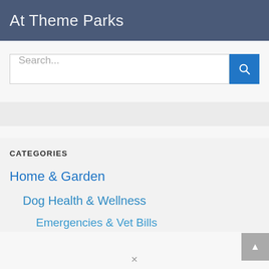At Theme Parks
Search...
CATEGORIES
Home & Garden
Dog Health & Wellness
Emergencies & Vet Bills